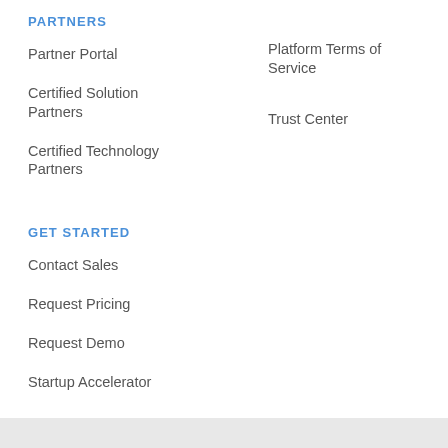PARTNERS
Platform Terms of Service
Partner Portal
Trust Center
Certified Solution Partners
Certified Technology Partners
GET STARTED
Contact Sales
Request Pricing
Request Demo
Startup Accelerator